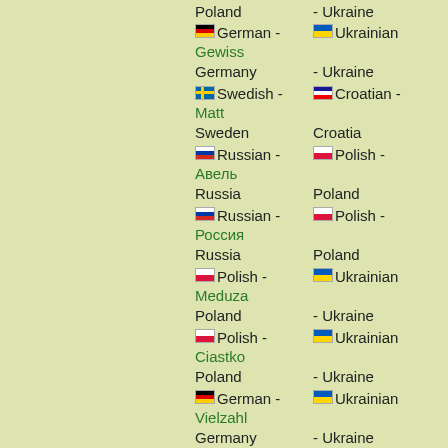Polish - Poland | Ukrainian - Ukraine
German - Germany | Ukrainian - Ukraine | Gewiss
Swedish - Sweden | Croatian - Croatia | Matt
Russian - Russia | Polish - Poland | Авель
Russian - Russia | Polish - Poland | Россия
Polish - Poland | Ukrainian - Ukraine | Meduza
Polish - Poland | Ukrainian - Ukraine | Ciastko
German - Germany | Ukrainian - Ukraine | Vielzahl
Russian - Russia | Polish - Poland | Авары
Polish - Poland | Belarusian - Belarus | Broń
Estonian - Estonia | Hungarian - Hungary | Lumememm
Russian - Russia | Polish - Poland | Окружности
Czech - | Russian - | Vidlička